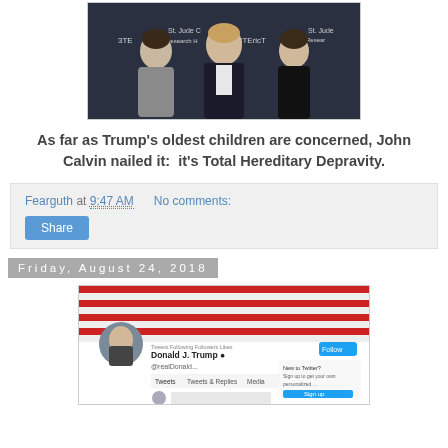[Figure (photo): Three adults posing in front of branded backdrop (Eric Trump Foundation / St. Jude Children's Research Hospital). Left: man in grey suit, center: tall man in dark suit, right: woman in black dress.]
As far as Trump's oldest children are concerned, John Calvin nailed it:  it's Total Hereditary Depravity.
Fearguth at 9:47 AM    No comments:
Share
Friday, August 24, 2018
[Figure (screenshot): Screenshot of a Twitter/social media profile page showing an American flag header image and a profile photo of an older man in a suit. The profile name appears to be Donald J. Trump. Various Twitter interface elements visible including follower counts and tweet tabs.]